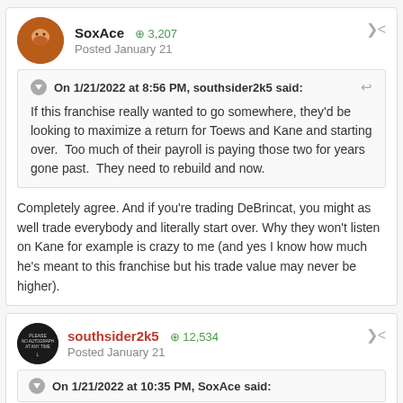SoxAce +3,207 Posted January 21
On 1/21/2022 at 8:56 PM, southsider2k5 said: If this franchise really wanted to go somewhere, they'd be looking to maximize a return for Toews and Kane and starting over. Too much of their payroll is paying those two for years gone past. They need to rebuild and now.
Completely agree. And if you're trading DeBrincat, you might as well trade everybody and literally start over. Why they won't listen on Kane for example is crazy to me (and yes I know how much he's meant to this franchise but his trade value may never be higher).
southsider2k5 +12,534 Posted January 21
On 1/21/2022 at 10:35 PM, SoxAce said: